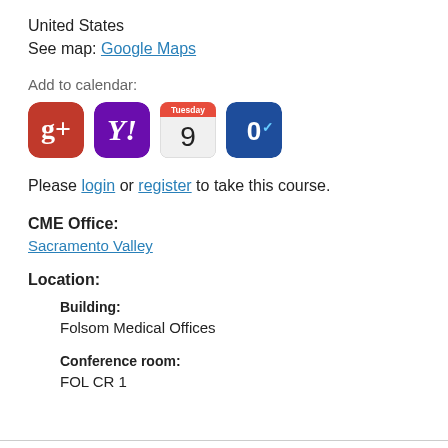United States
See map: Google Maps
Add to calendar:
[Figure (infographic): Four calendar/social icons: Google+, Yahoo, iOS Calendar (Tuesday 9), Outlook]
Please login or register to take this course.
CME Office:
Sacramento Valley
Location:
Building:
Folsom Medical Offices
Conference room:
FOL CR 1